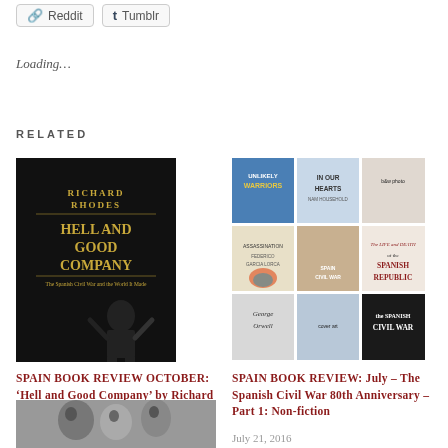[Figure (other): Reddit and Tumblr social sharing buttons]
Loading...
RELATED
[Figure (photo): Book cover: Hell and Good Company by Richard Rhodes, dark cover with gold text and figure]
SPAIN BOOK REVIEW OCTOBER: ‘Hell and Good Company’ by Richard Rhodes
October 30, 2016
In "2016 SPAIN BOOK REVIEWS"
[Figure (photo): Collage of book covers related to the Spanish Civil War]
SPAIN BOOK REVIEW: July – The Spanish Civil War 80th Anniversary – Part 1: Non-fiction
July 21, 2016
In "2016 SPAIN BOOK REVIEWS"
[Figure (photo): Black and white photograph (partial, cropped at bottom of page)]